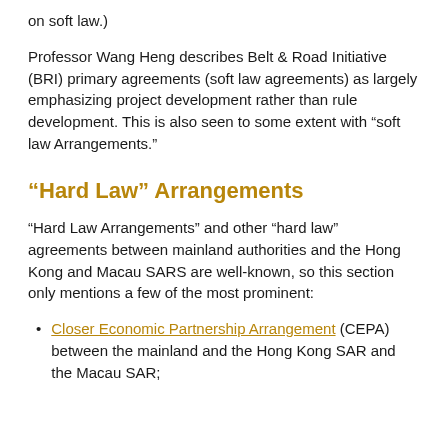on soft law.)
Professor Wang Heng describes Belt & Road Initiative (BRI) primary agreements (soft law agreements) as largely emphasizing project development rather than rule development. This is also seen to some extent with “soft law Arrangements.”
“Hard Law” Arrangements
“Hard Law Arrangements” and other “hard law” agreements between mainland authorities and the Hong Kong and Macau SARS are well-known, so this section only mentions a few of the most prominent:
Closer Economic Partnership Arrangement (CEPA) between the mainland and the Hong Kong SAR and the Macau SAR;